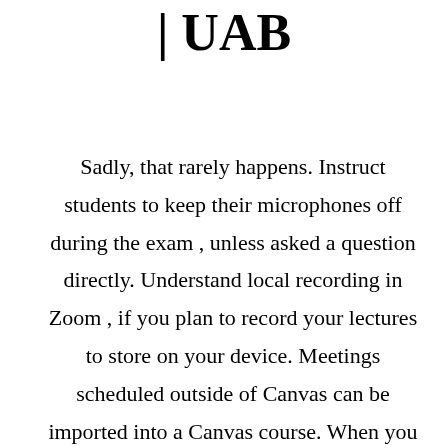| UAB
Sadly, that rarely happens. Instruct students to keep their microphones off during the exam , unless asked a question directly. Understand local recording in Zoom , if you plan to record your lectures to store on your device. Meetings scheduled outside of Canvas can be imported into a Canvas course. When you are ready to start your breakout rooms, click Open All Rooms. Zoom cameras not working